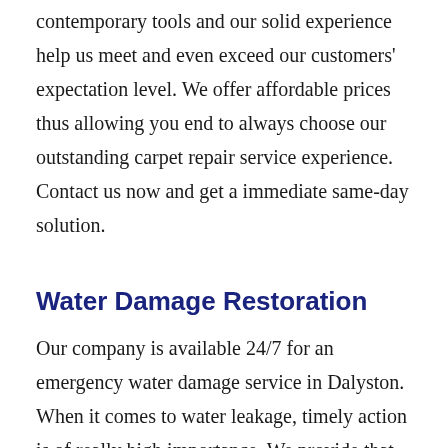contemporary tools and our solid experience help us meet and even exceed our customers' expectation level. We offer affordable prices thus allowing you end to always choose our outstanding carpet repair service experience. Contact us now and get a immediate same-day solution.
Water Damage Restoration
Our company is available 24/7 for an emergency water damage service in Dalyston. When it comes to water leakage, timely action is of really high importance. We provide that exactly. You can count on our experienced professionals to arrive at your